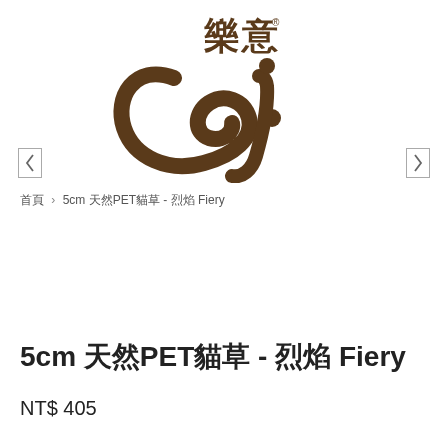[Figure (logo): 樂意 brand logo with stylized 'wei' calligraphic mark in dark brown and Chinese characters 樂意 above]
首頁 › 5cm 天然PET貓草 - 烈焰 Fiery
5cm 天然PET貓草 - 烈焰 Fiery
NT$ 405